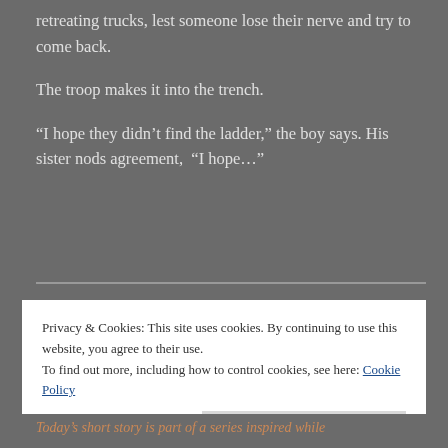retreating trucks, lest someone lose their nerve and try to come back.
The troop makes it into the trench.
“I hope they didn’t find the ladder,” the boy says. His sister nods agreement,  “I hope…”
Privacy & Cookies: This site uses cookies. By continuing to use this website, you agree to their use.
To find out more, including how to control cookies, see here: Cookie Policy
Today’s short story is part of a series inspired while